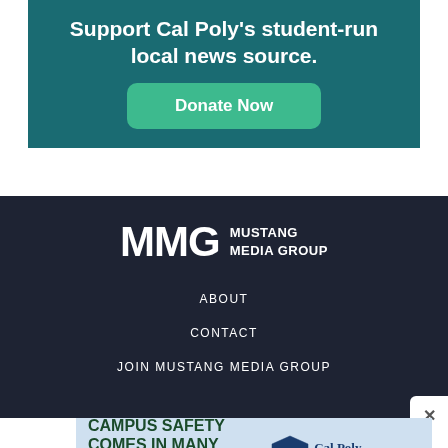Support Cal Poly's student-run local news source.
Donate Now
[Figure (logo): MMG Mustang Media Group logo in white on dark navy background]
ABOUT
CONTACT
JOIN MUSTANG MEDIA GROUP
[Figure (infographic): Cal Poly Public Safety advertisement: Campus Safety Comes In Many Forms. Learn More button. Cal Poly shield logo with Public Safety Administration & Finance text.]